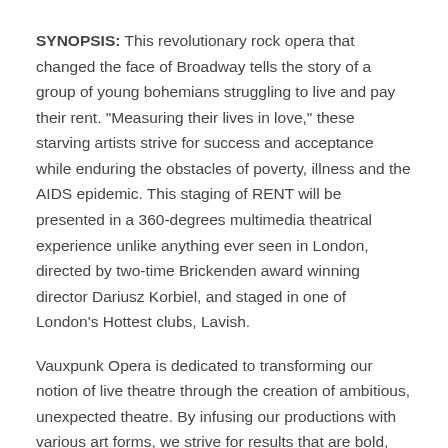SYNOPSIS: This revolutionary rock opera that changed the face of Broadway tells the story of a group of young bohemians struggling to live and pay their rent. "Measuring their lives in love," these starving artists strive for success and acceptance while enduring the obstacles of poverty, illness and the AIDS epidemic. This staging of RENT will be presented in a 360-degrees multimedia theatrical experience unlike anything ever seen in London, directed by two-time Brickenden award winning director Dariusz Korbiel, and staged in one of London's Hottest clubs, Lavish.
Vauxpunk Opera is dedicated to transforming our notion of live theatre through the creation of ambitious, unexpected theatre. By infusing our productions with various art forms, we strive for results that are bold, innovative, and breathtaking. Because we believe in the value of live theatre and the lasting impact it has on each of us.